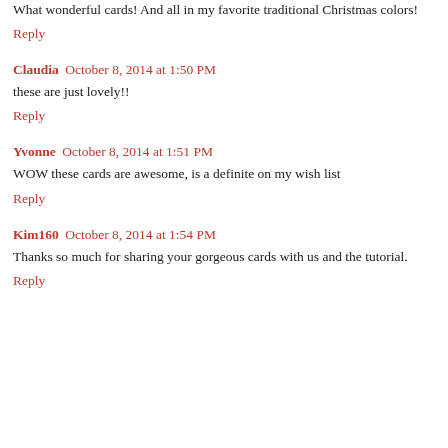What wonderful cards! And all in my favorite traditional Christmas colors!
Reply
Claudia  October 8, 2014 at 1:50 PM
these are just lovely!!
Reply
Yvonne  October 8, 2014 at 1:51 PM
WOW these cards are awesome, is a definite on my wish list
Reply
Kim160  October 8, 2014 at 1:54 PM
Thanks so much for sharing your gorgeous cards with us and the tutorial.
Reply